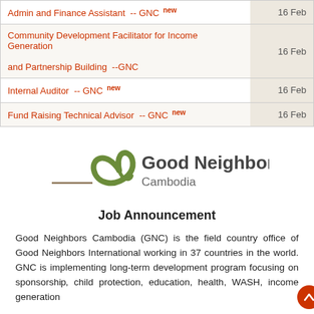| Job Title | Date |
| --- | --- |
| Admin and Finance Assistant  -- GNC new | 16 Feb |
| Community Development Facilitator for Income Generation and Partnership Building  --GNC | 16 Feb |
| Internal Auditor  -- GNC new | 16 Feb |
| Fund Raising Technical Advisor  -- GNC new | 16 Feb |
[Figure (logo): Good Neighbors Cambodia logo with stylized heart/hands graphic and text 'Good Neighbors Cambodia']
Job Announcement
Good Neighbors Cambodia (GNC) is the field country office of Good Neighbors International working in 37 countries in the world. GNC is implementing long-term development program focusing on sponsorship, child protection, education, health, WASH, income generation